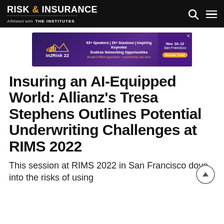RISK & INSURANCE — Affiliated with THE INSTITUTES
[Figure (other): In2Risk 22 advertisement banner: 63+ Speakers | 33+ Sessions | Inspiring Keynotes Endless Networking Opportunities. Nov. 10-12, San Francisco. Register Today.]
Insuring an AI-Equipped World: Allianz's Tresa Stephens Outlines Potential Underwriting Challenges at RIMS 2022
This session at RIMS 2022 in San Francisco dove into the risks of using